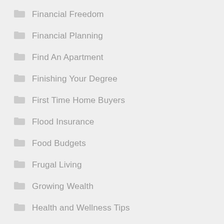Financial Freedom
Financial Planning
Find An Apartment
Finishing Your Degree
First Time Home Buyers
Flood Insurance
Food Budgets
Frugal Living
Growing Wealth
Health and Wellness Tips
Health Insurance
Home